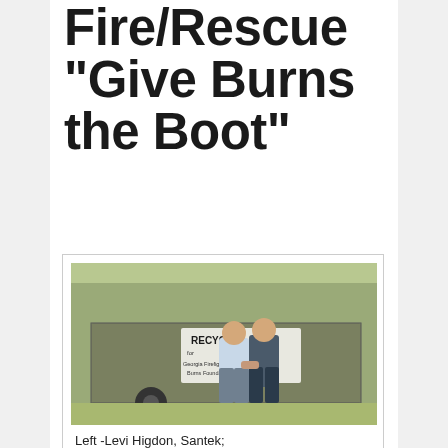Fire/Rescue "Give Burns the Boot"
[Figure (photo): Two men shaking hands in front of a trailer with a RECYCLE sign. Left - Levi Higdon, Santek; Right - B/C H. Smith, GCFR]
Left -Levi Higdon, Santek;
Right – B/C H. Smith, GCFR
Recently, Santek Waste Services merged a portion of their company's resources with Gordon County Fire/Rescue's